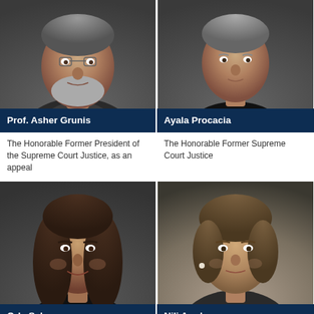[Figure (photo): Portrait photo of Prof. Asher Grunis, older man with gray beard and gray hair, against dark background]
Prof. Asher Grunis
The Honorable Former President of the Supreme Court Justice, as an appeal
[Figure (photo): Portrait photo of Ayala Procacia, older woman with short gray hair, against dark background]
Ayala Procacia
The Honorable Former Supreme Court Justice
[Figure (photo): Portrait photo of Orly Sela, middle-aged woman with long dark brown hair, against dark background]
Orly Sela
The Honorable Former President Judge of the
[Figure (photo): Portrait photo of Nili Arad, middle-aged woman with short brown hair, against beige/dark background]
Nili Arad
The Honorable Former President Judge of the